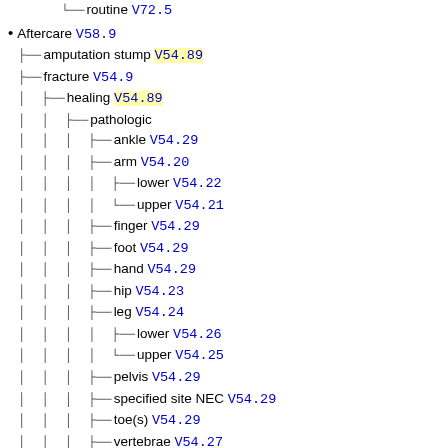routine V72.5
Aftercare V58.9
amputation stump V54.89
fracture V54.9
healing V54.89
pathologic
ankle V54.29
arm V54.20
lower V54.22
upper V54.21
finger V54.29
foot V54.29
hand V54.29
hip V54.23
leg V54.24
lower V54.26
upper V54.25
pelvis V54.29
specified site NEC V54.29
toe(s) V54.29
vertebrae V54.27
wrist V54.29
traumatic